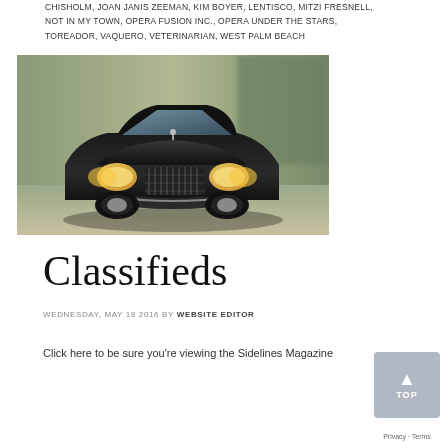CHISHOLM, JOAN JANIS ZEEMAN, KIM BOYER, LENTISCO, MITZI FRESNELL, NOT IN MY TOWN, OPERA FUSION INC., OPERA UNDER THE STARS, TOREADOR, VAQUERO, VETERINARIAN, WEST PALM BEACH
[Figure (photo): A black Lincoln Town Car sedan photographed from a front three-quarter angle, in motion with blurred background.]
Classifieds
WEDNESDAY, MAY 18 2016 BY WEBSITE EDITOR
Click here to be sure you're viewing the Sidelines Magazine